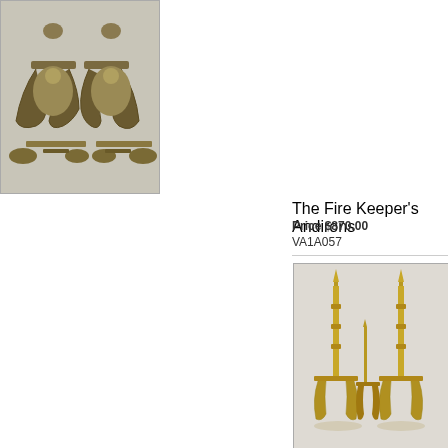[Figure (photo): Photo of The Fire Keeper's Andirons - ornate brass andirons with decorative paw feet, shown from above on white background]
The Fire Keeper's Andirons
Price $870.00
VA1A057
[Figure (photo): Photo of Tower Andirons - tall slender brass andirons with spire finials and curved legs, shown on white background]
Tower Andirons
Price $1,040.00
VA1A052
[Figure (photo): Photo of wrought iron andirons with ball finials and ring details, shown on white background - partially visible]